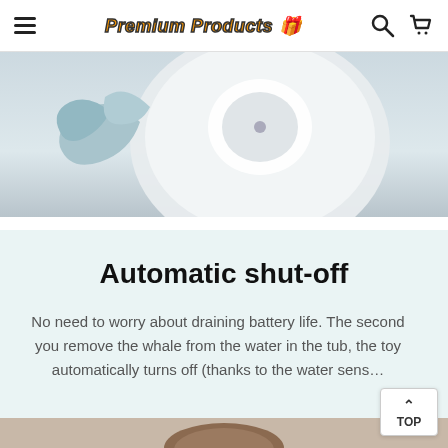Premium Products
[Figure (photo): Close-up photo of a light blue whale bath toy on a white/light gray surface, showing the top and side of the toy.]
Automatic shut-off
No need to worry about draining battery life. The second you remove the whale from the water in the tub, the toy automatically turns off (thanks to the water sens…
[Figure (photo): Partial bottom strip showing a child's head/hair, beginning of another product photo section.]